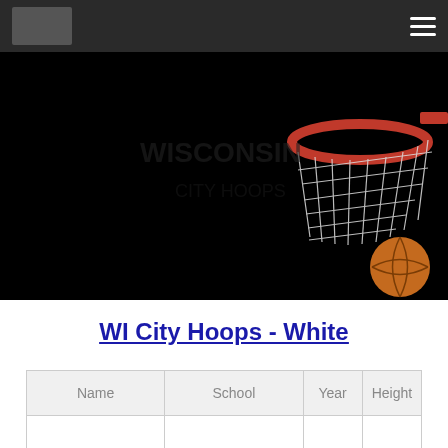WI City Hoops navigation header
[Figure (photo): Basketball hoop with net and basketball against black background, close-up shot showing orange rim and white net with a basketball below]
WI City Hoops - White
| Name | School | Year | Height |
| --- | --- | --- | --- |
|  |  |  |  |